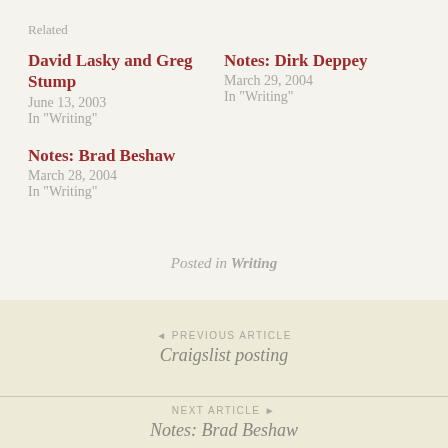Related
David Lasky and Greg Stump
June 13, 2003
In "Writing"
Notes: Dirk Deppey
March 29, 2004
In "Writing"
Notes: Brad Beshaw
March 28, 2004
In "Writing"
Posted in Writing
PREVIOUS ARTICLE
Craigslist posting
NEXT ARTICLE
Notes: Brad Beshaw